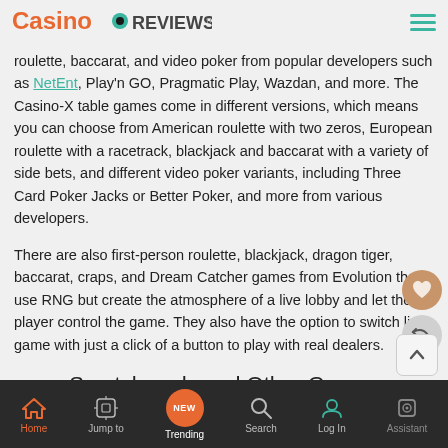CasinoReviews.net
roulette, baccarat, and video poker from popular developers such as NetEnt, Play'n GO, Pragmatic Play, Wazdan, and more. The Casino-X table games come in different versions, which means you can choose from American roulette with two zeros, European roulette with a racetrack, blackjack and baccarat with a variety of side bets, and different video poker variants, including Three Card Poker Jacks or Better Poker, and more from various developers.
There are also first-person roulette, blackjack, dragon tiger, baccarat, craps, and Dream Catcher games from Evolution that use RNG but create the atmosphere of a live lobby and let the player control the game. They also have the option to switch live game with just a click of a button to play with real dealers.
Scratchcards and Other Games
Home  Jump to  Trending  Search  Log In  Assistant